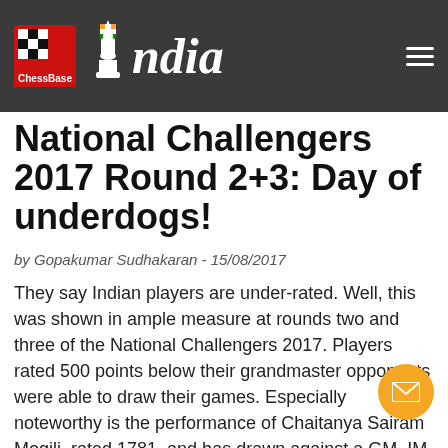ChessBase India
National Challengers 2017 Round 2+3: Day of underdogs!
by Gopakumar Sudhakaran - 15/08/2017
They say Indian players are under-rated. Well, this was shown in ample measure at rounds two and three of the National Challengers 2017. Players rated 500 points below their grandmaster opponents were able to draw their games. Especially noteworthy is the performance of Chaitanya Sairam Mogili, rated 1781, and has drawn against a GM, IM and WFM. We have pictures from Ahmedabad and